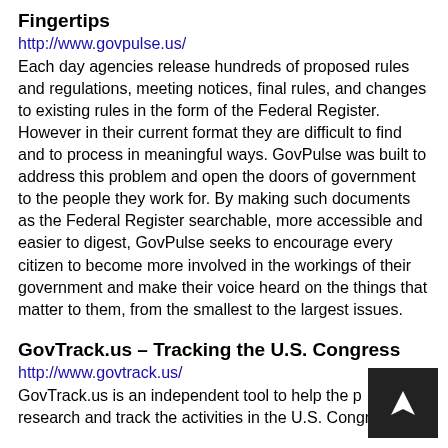Fingertips
http://www.govpulse.us/
Each day agencies release hundreds of proposed rules and regulations, meeting notices, final rules, and changes to existing rules in the form of the Federal Register. However in their current format they are difficult to find and to process in meaningful ways. GovPulse was built to address this problem and open the doors of government to the people they work for. By making such documents as the Federal Register searchable, more accessible and easier to digest, GovPulse seeks to encourage every citizen to become more involved in the workings of their government and make their voice heard on the things that matter to them, from the smallest to the largest issues.
GovTrack.us – Tracking the U.S. Congress
http://www.govtrack.us/
GovTrack.us is an independent tool to help the public research and track the activities in the U.S. Congress.